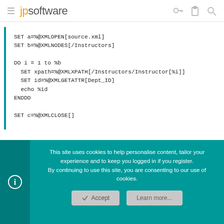jpsoftware
This site uses cookies to help personalise content, tailor your experience and to keep you logged in if you register.
By continuing to use this site, you are consenting to our use of cookies.